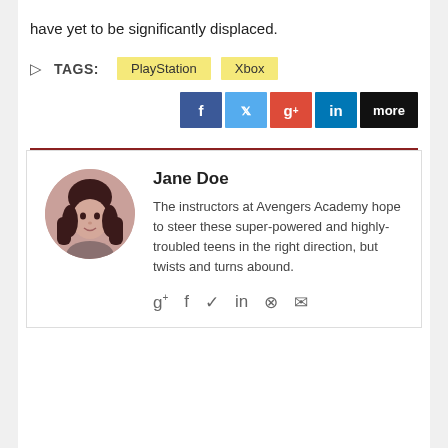have yet to be significantly displaced.
TAGS: PlayStation Xbox
[Figure (infographic): Social share buttons: f (Facebook, blue), t (Twitter, light blue), g+ (Google+, red), in (LinkedIn, dark blue), more (black)]
[Figure (infographic): Author card with circular avatar photo of Jane Doe, name, bio text, and social icons]
Jane Doe
The instructors at Avengers Academy hope to steer these super-powered and highly-troubled teens in the right direction, but twists and turns abound.